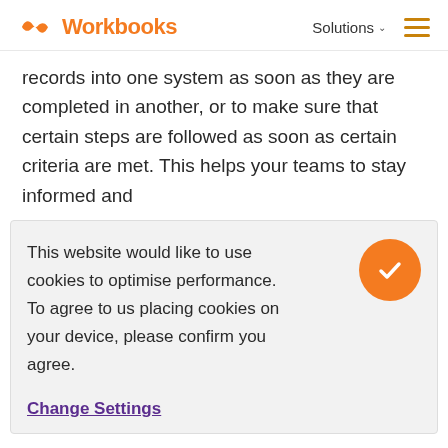Workbooks — Solutions (nav)
records into one system as soon as they are completed in another, or to make sure that certain steps are followed as soon as certain criteria are met. This helps your teams to stay informed and
This website would like to use cookies to optimise performance. To agree to us placing cookies on your device, please confirm you agree.
Change Settings
around to manually copying everything